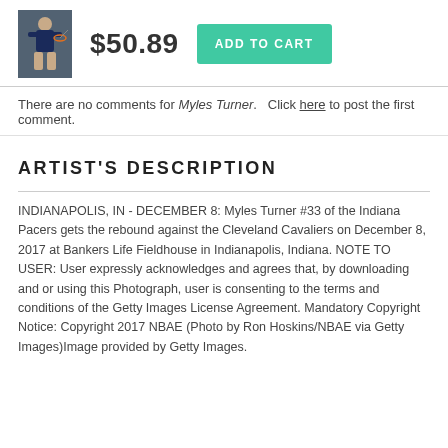[Figure (photo): Small thumbnail photo of a basketball player (Myles Turner) in action]
$50.89
ADD TO CART
There are no comments for Myles Turner.   Click here to post the first comment.
ARTIST'S  DESCRIPTION
INDIANAPOLIS, IN - DECEMBER 8: Myles Turner #33 of the Indiana Pacers gets the rebound against the Cleveland Cavaliers on December 8, 2017 at Bankers Life Fieldhouse in Indianapolis, Indiana. NOTE TO USER: User expressly acknowledges and agrees that, by downloading and or using this Photograph, user is consenting to the terms and conditions of the Getty Images License Agreement. Mandatory Copyright Notice: Copyright 2017 NBAE (Photo by Ron Hoskins/NBAE via Getty Images)Image provided by Getty Images.